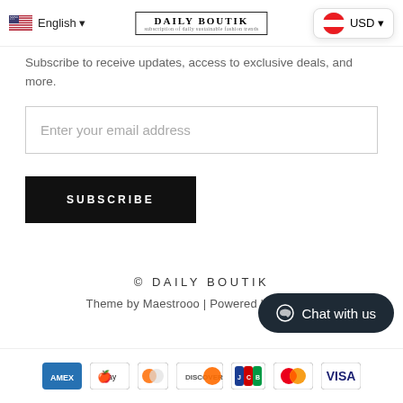English USD
Subscribe to receive updates, access to exclusive deals, and more.
Enter your email address
SUBSCRIBE
© DAILY BOUTIK
Theme by Maestrooo | Powered by Shopify
[Figure (screenshot): Chat with us button]
[Figure (screenshot): Payment icons: AMEX, Apple Pay, Diners Club, Discover, JCB, Mastercard, Visa]